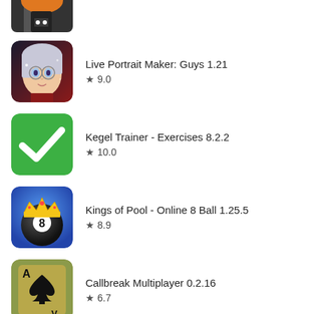[Figure (screenshot): Partially visible app icon at top of list (dark/road themed app)]
[Figure (illustration): Live Portrait Maker: Guys app icon - anime character with white hair and glasses]
Live Portrait Maker: Guys 1.21
★ 9.0
[Figure (illustration): Kegel Trainer app icon - green background with white checkmark]
Kegel Trainer - Exercises 8.2.2
★ 10.0
[Figure (illustration): Kings of Pool app icon - 8 ball with golden crown on blue background]
Kings of Pool - Online 8 Ball 1.25.5
★ 8.9
[Figure (illustration): Callbreak Multiplayer app icon - playing card Ace of Spades on olive/tan background]
Callbreak Multiplayer 0.2.16
★ 6.7